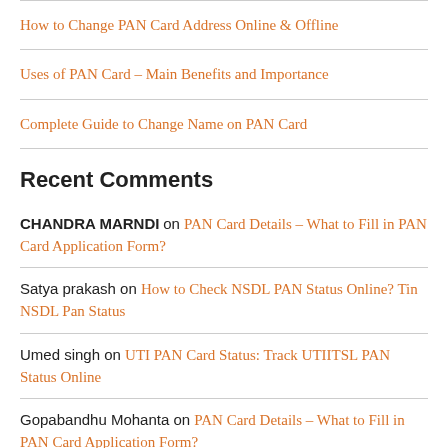How to Change PAN Card Address Online & Offline
Uses of PAN Card – Main Benefits and Importance
Complete Guide to Change Name on PAN Card
Recent Comments
CHANDRA MARNDI on PAN Card Details – What to Fill in PAN Card Application Form?
Satya prakash on How to Check NSDL PAN Status Online? Tin NSDL Pan Status
Umed singh on UTI PAN Card Status: Track UTIITSL PAN Status Online
Gopabandhu Mohanta on PAN Card Details – What to Fill in PAN Card Application Form?